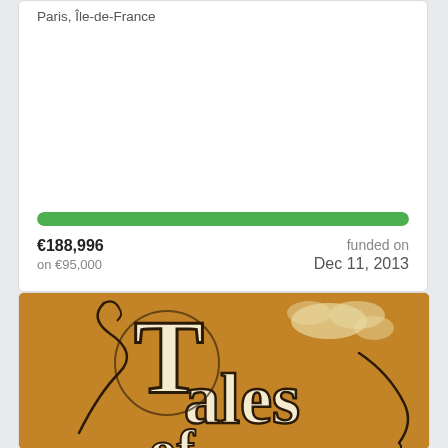Paris, Île-de-France
€188,996
on €95,000
funded on
Dec 11, 2013
[Figure (illustration): Tales of ... logo on an orange/brown background with ornate gothic lettering and curling flourishes]